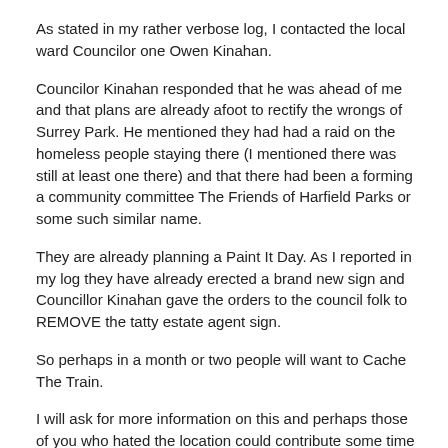As stated in my rather verbose log, I contacted the local ward Councilor one Owen Kinahan.
Councilor Kinahan responded that he was ahead of me and that plans are already afoot to rectify the wrongs of Surrey Park. He mentioned they had had a raid on the homeless people staying there (I mentioned there was still at least one there) and that there had been a forming a community committee The Friends of Harfield Parks or some such similar name.
They are already planning a Paint It Day. As I reported in my log they have already erected a brand new sign and Councillor Kinahan gave the orders to the council folk to REMOVE the tatty estate agent sign.
So perhaps in a month or two people will want to Cache The Train.
I will ask for more information on this and perhaps those of you who hated the location could contribute some time to beautify it, not only contributing to the local community, and the greater good of the City of Cape Town, but also contributing to making this quick driveby cache more of a pleasure to do.